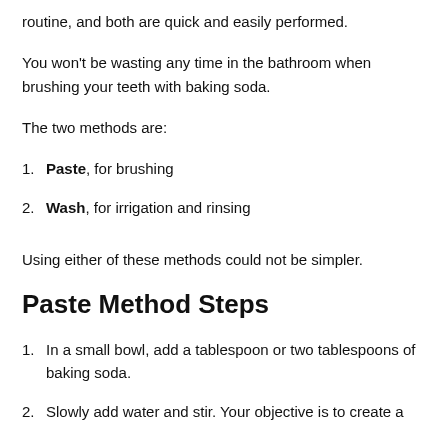routine, and both are quick and easily performed.
You won't be wasting any time in the bathroom when brushing your teeth with baking soda.
The two methods are:
Paste, for brushing
Wash, for irrigation and rinsing
Using either of these methods could not be simpler.
Paste Method Steps
In a small bowl, add a tablespoon or two tablespoons of baking soda.
Slowly add water and stir. Your objective is to create a